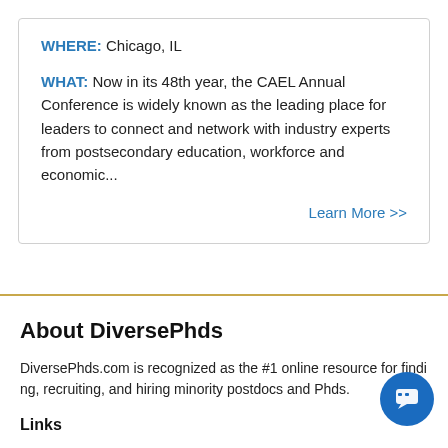WHERE: Chicago, IL
WHAT: Now in its 48th year, the CAEL Annual Conference is widely known as the leading place for leaders to connect and network with industry experts from postsecondary education, workforce and economic...
Learn More >>
About DiversePhds
DiversePhds.com is recognized as the #1 online resource for finding, recruiting, and hiring minority postdocs and Phds.
Links